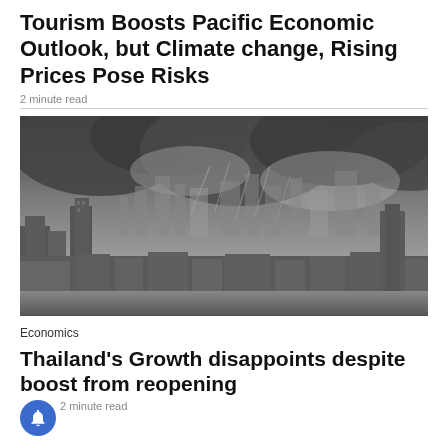Tourism Boosts Pacific Economic Outlook, but Climate change, Rising Prices Pose Risks
2 minute read
[Figure (photo): Black and white cityscape photo showing a dense urban skyline with skyscrapers under a dramatic stormy cloudy sky with rain visible in the background]
Economics
Thailand's Growth disappoints despite boost from reopening
2 minute read